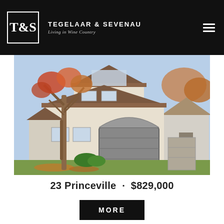T&S TEGELAAR & SEVENAU Living in Wine Country
[Figure (photo): Exterior photo of a two-story stucco home with a large garage door, autumn trees with red/orange leaves in the front yard, and a concrete driveway. Neighboring houses visible on right.]
23 Princeville · $829,000
MORE